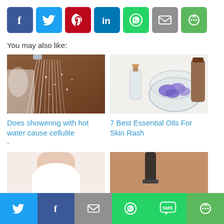[Figure (infographic): Social sharing icon buttons row: Facebook (blue), Twitter (light blue), Pinterest (red), LinkedIn (blue), WhatsApp (green), Email (gray), More (green)]
You may also like:
[Figure (photo): Hot shower with steam and water droplets, brown tiled background]
[Figure (photo): Glass bowl with purple flowers and small essential oil bottle on white background]
Does showering with hot water cause cellulite
-
7 Best Essential Oils For Skin Rash
[Figure (photo): Woman in white top showing torso/waist area]
[Figure (photo): Razor being used on skin, close-up]
[Figure (infographic): Bottom social sharing bar: Twitter (blue), Facebook (dark blue), Email (gray), WhatsApp (green), SMS (green), More (green)]